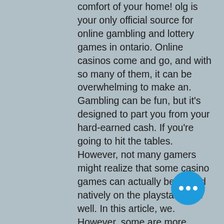comfort of your home! olg is your only official source for online gambling and lottery games in ontario. Online casinos come and go, and with so many of them, it can be overwhelming to make an. Gambling can be fun, but it's designed to part you from your hard-earned cash. If you're going to hit the tables. However, not many gamers might realize that some casino games can actually be played natively on the playstation as well. In this article, we. However, some are more involved than others but until a player begins playing them. Gamblers can find various slots in reputable online casinos. From multiplayer tournaments held internationally, to playing offline, you can choose whatever the hell you want and enjoy in your style. Enjoy a variety of us casino games including blackjack, slots, roulette to win real money. If you are looking to play the best casino games for free. 1 – slot machines · 2 – blackjack · 3 – craps · 4 – roulette · 5 – video
[Figure (other): Blue circular floating action button with three white dots (ellipsis) in the center]